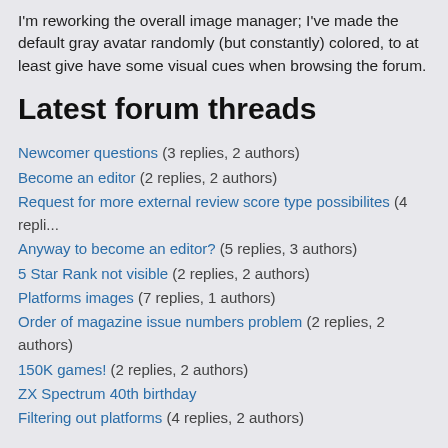I'm reworking the overall image manager; I've made the default gray avatar randomly (but constantly) colored, to at least give have some visual cues when browsing the forum.
Latest forum threads
Newcomer questions (3 replies, 2 authors)
Become an editor (2 replies, 2 authors)
Request for more external review score type possibilites (4 repli...
Anyway to become an editor? (5 replies, 3 authors)
5 Star Rank not visible (2 replies, 2 authors)
Platforms images (7 replies, 1 authors)
Order of magazine issue numbers problem (2 replies, 2 authors)
150K games! (2 replies, 2 authors)
ZX Spectrum 40th birthday
Filtering out platforms (4 replies, 2 authors)